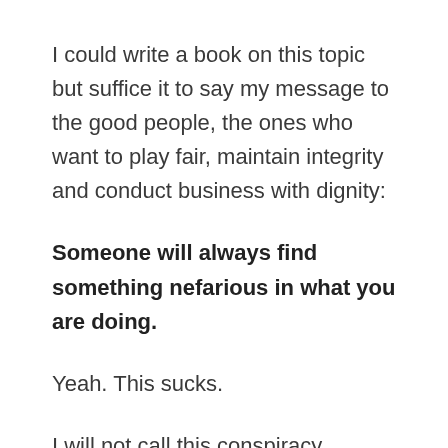I could write a book on this topic but suffice it to say my message to the good people, the ones who want to play fair, maintain integrity and conduct business with dignity:
Someone will always find something nefarious in what you are doing.
Yeah. This sucks.
I will not call this conspiracy thinking but, in general, a business culture more often